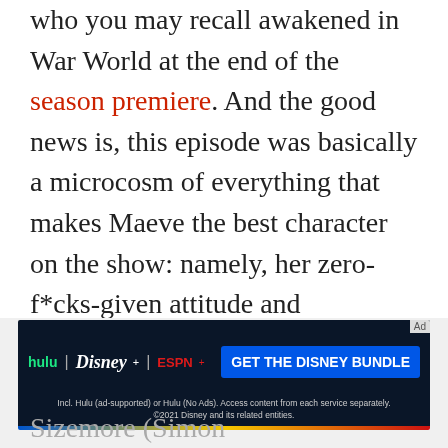who you may recall awakened in War World at the end of the season premiere. And the good news is, this episode was basically a microcosm of everything that makes Maeve the best character on the show: namely, her zero-f*cks-given attitude and whipsmart problem solving skills. She quickly encounters her old flame Hector (Rodrigo Santoro) Sizemore (Simon ...
[Figure (logo): Green stylized arrow/navigation icon on left side]
[Figure (infographic): Advertisement banner: Disney Bundle promotion showing Hulu, Disney+, ESPN+ logos with 'GET THE DISNEY BUNDLE' call to action button. Fine print: Incl. Hulu (ad-supported) or Hulu (No Ads). Access content from each service separately. ©2021 Disney and its related entities.]